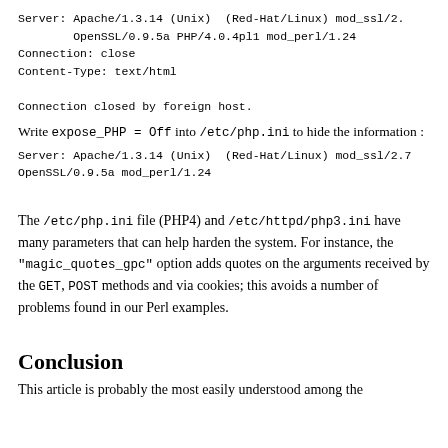Server: Apache/1.3.14 (Unix)  (Red-Hat/Linux) mod_ssl/2.
        OpenSSL/0.9.5a PHP/4.0.4pl1 mod_perl/1.24
Connection: close
Content-Type: text/html

Connection closed by foreign host.
Write expose_PHP = Off into /etc/php.ini to hide the information :
Server: Apache/1.3.14 (Unix)  (Red-Hat/Linux) mod_ssl/2.7
OpenSSL/0.9.5a mod_perl/1.24
The /etc/php.ini file (PHP4) and /etc/httpd/php3.ini have many parameters that can help harden the system. For instance, the "magic_quotes_gpc" option adds quotes on the arguments received by the GET, POST methods and via cookies; this avoids a number of problems found in our Perl examples.
Conclusion
This article is probably the most easily understood among the